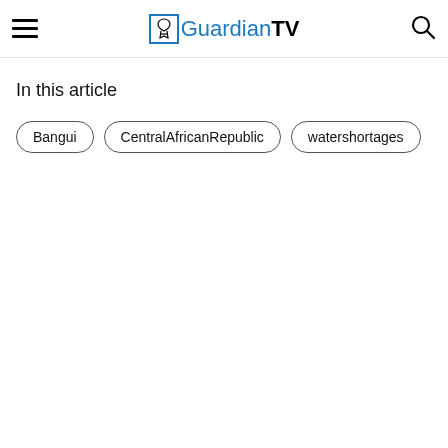GuardianTV
In this article
Bangui
CentralAfricanRepublic
watershortages